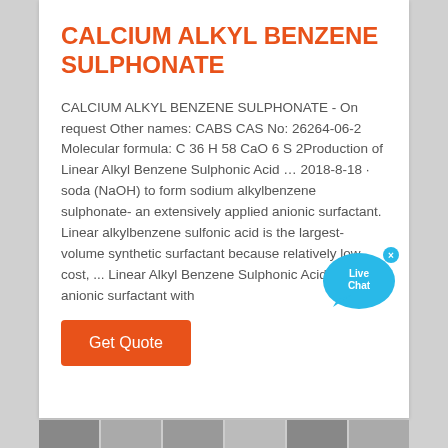CALCIUM ALKYL BENZENE SULPHONATE
CALCIUM ALKYL BENZENE SULPHONATE - On request Other names: CABS CAS No: 26264-06-2 Molecular formula: C 36 H 58 CaO 6 S 2Production of Linear Alkyl Benzene Sulphonic Acid … 2018-8-18 · soda (NaOH) to form sodium alkylbenzene sulphonate- an extensively applied anionic surfactant. Linear alkylbenzene sulfonic acid is the largest-volume synthetic surfactant because relatively low cost, ... Linear Alkyl Benzene Sulphonic Acid is an anionic surfactant with
[Figure (illustration): Live Chat bubble icon — cyan speech bubble with 'Live Chat' text in white and a small X close button]
[Figure (other): Get Quote orange button]